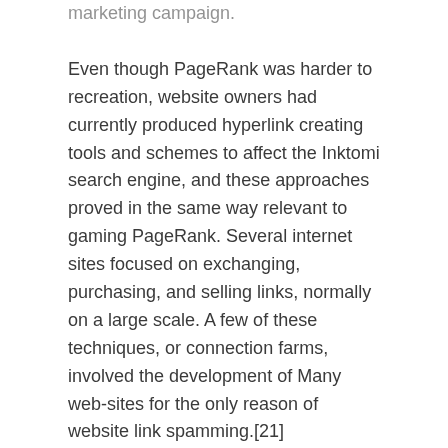marketing campaign.
Even though PageRank was harder to recreation, website owners had currently produced hyperlink creating tools and schemes to affect the Inktomi search engine, and these approaches proved in the same way relevant to gaming PageRank. Several internet sites focused on exchanging, purchasing, and selling links, normally on a large scale. A few of these techniques, or connection farms, involved the development of Many web-sites for the only reason of website link spamming.[21]
That continuous advancement delivers your business the possibility to obtain its most significant ambitions, from increasing into a new area to creating a lot more Work opportunities to your local people.